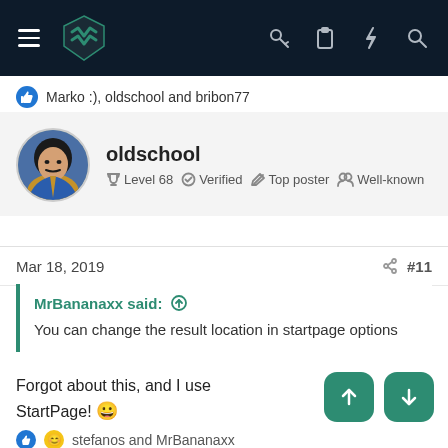Navigation bar with logo and icons
Marko :), oldschool and bribon77
oldschool
Level 68  Verified  Top poster  Well-known
Mar 18, 2019  #11
MrBananaxx said: ↑
You can change the result location in startpage options
Forgot about this, and I use StartPage! 😀
stefanos and MrBananaxx